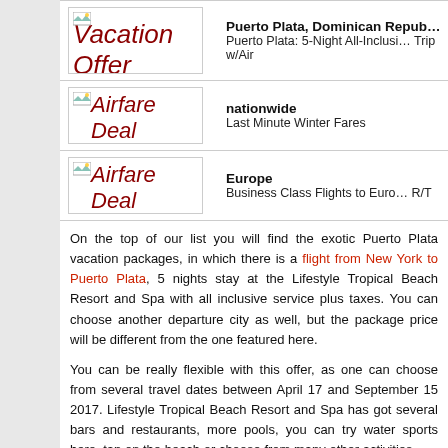| Image | Title/Description |
| --- | --- |
| Vacation Offer | Puerto Plata, Dominican Republic
Puerto Plata: 5-Night All-Inclusive Trip w/Air |
| Airfare Deal | nationwide
Last Minute Winter Fares |
| Airfare Deal | Europe
Business Class Flights to Europe R/T |
On the top of our list you will find the exotic Puerto Plata vacation packages, in which there is a flight from New York to Puerto Plata, 5 nights stay at the Lifestyle Tropical Beach Resort and Spa with all inclusive service plus taxes. You can choose another departure city as well, but the package price will be different from the one featured here.
You can be really flexible with this offer, as one can choose from several travel dates between April 17 and September 15 2017. Lifestyle Tropical Beach Resort and Spa has got several bars and restaurants, more pools, you can try water sports here, tan on the beach or choose from many other activities.